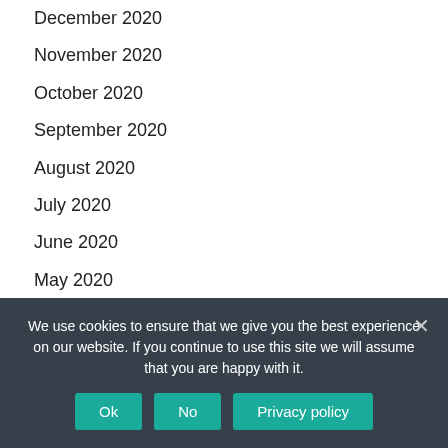December 2020
November 2020
October 2020
September 2020
August 2020
July 2020
June 2020
May 2020
April 2020
March 2020
February 2020
We use cookies to ensure that we give you the best experience on our website. If you continue to use this site we will assume that you are happy with it.